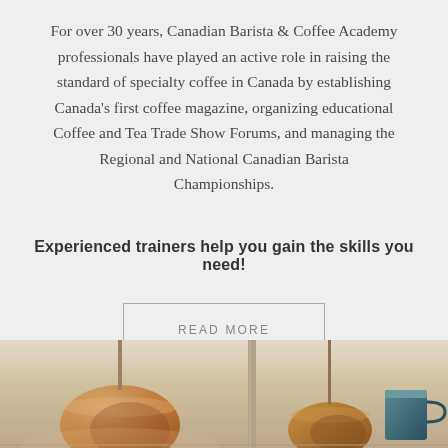For over 30 years, Canadian Barista & Coffee Academy professionals have played an active role in raising the standard of specialty coffee in Canada by establishing Canada's first coffee magazine, organizing educational Coffee and Tea Trade Show Forums, and managing the Regional and National Canadian Barista Championships.
Experienced trainers help you gain the skills you need!
READ MORE
[Figure (photo): Bottom portion of a cafe interior showing pendant lamps and a teal cup on a counter, warm tones with blurred/hazy quality]